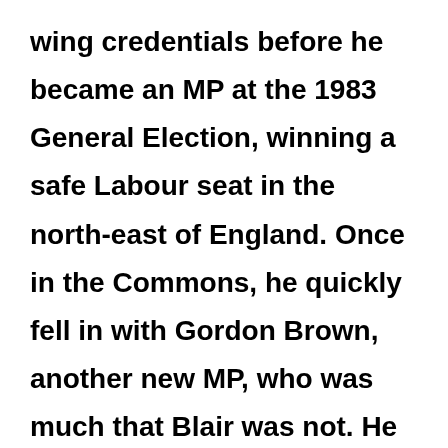wing credentials before he became an MP at the 1983 General Election, winning a safe Labour seat in the north-east of England. Once in the Commons, he quickly fell in with Gordon Brown, another new MP, who was much that Blair was not. He was a tribal Labour Party man from a family which was strongly political and had rarely glimpsed the English Establishment, even its middle